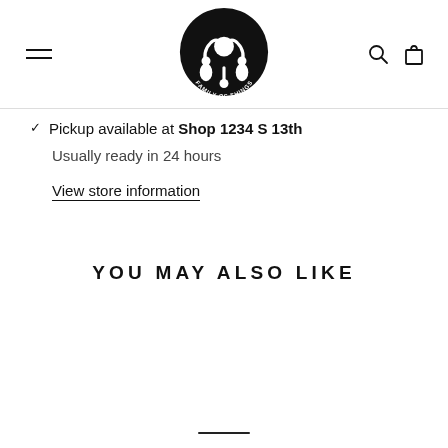Family of Things — navigation header with logo, hamburger menu, search and cart icons
Pickup available at Shop 1234 S 13th
Usually ready in 24 hours
View store information
YOU MAY ALSO LIKE